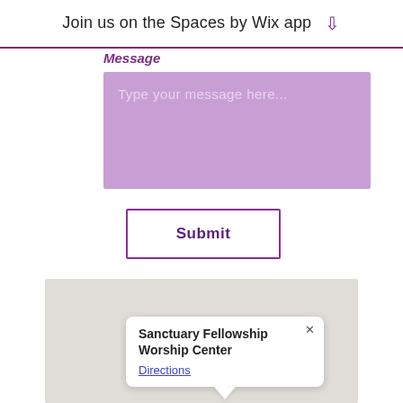Join us on the Spaces by Wix app
Message
Type your message here...
Submit
[Figure (map): Google Maps embed showing location of Sanctuary Fellowship Worship Center with a map popup tooltip containing the name and a Directions link]